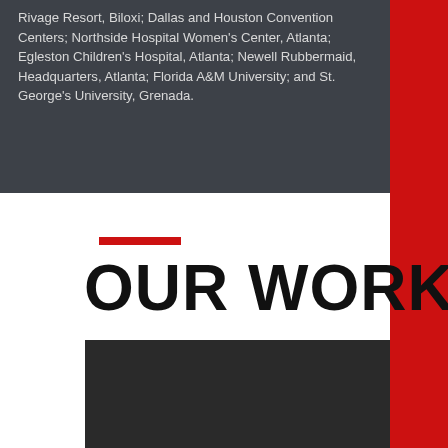Rivage Resort, Biloxi; Dallas and Houston Convention Centers; Northside Hospital Women's Center, Atlanta; Egleston Children's Hospital, Atlanta; Newell Rubbermaid, Headquarters, Atlanta; Florida A&M University; and St. George's University, Grenada.
OUR WORK
[Figure (photo): Dark/black photographic image block at the bottom of the page]